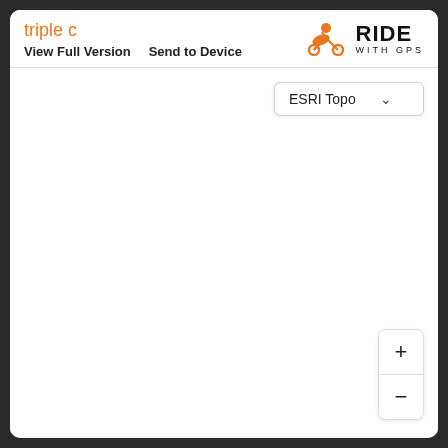triple c
View Full Version    Send to Device
[Figure (logo): Ride with GPS logo: orange cyclist icon with RIDE WITH GPS text]
[Figure (screenshot): Map area with ESRI Topo dropdown selector and blank white map view]
ESRI Topo
[Figure (other): Zoom in (+) and zoom out (-) buttons]